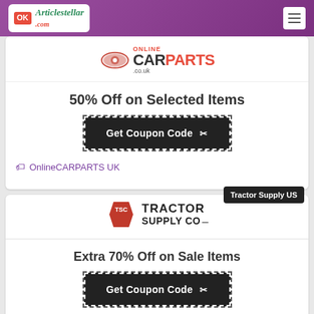Articlestellar.com
[Figure (logo): OnlineCARPARTS.co.uk logo with car icon]
50% Off on Selected Items
Get Coupon Code ✂
OnlineCARPARTS UK
Tractor Supply US (badge)
[Figure (logo): TSC Tractor Supply Co. logo]
Extra 70% Off on Sale Items
Get Coupon Code ✂
Tractor Supply US